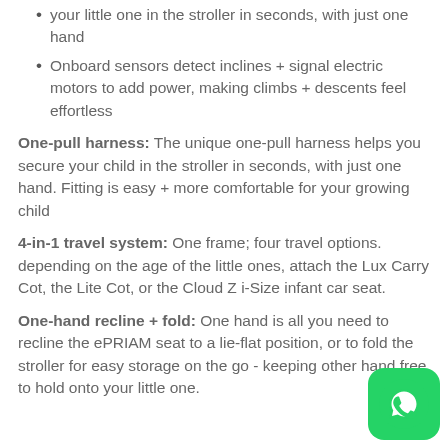your little one in the stroller in seconds, with just one hand
Onboard sensors detect inclines + signal electric motors to add power, making climbs + descents feel effortless
One-pull harness: The unique one-pull harness helps you secure your child in the stroller in seconds, with just one hand. Fitting is easy + more comfortable for your growing child
4-in-1 travel system: One frame; four travel options. depending on the age of the little ones, attach the Lux Carry Cot, the Lite Cot, or the Cloud Z i-Size infant car seat.
One-hand recline + fold: One hand is all you need to recline the ePRIAM seat to a lie-flat position, or to fold the stroller for easy storage on the go - keeping other hand free to hold onto your little one.
[Figure (logo): WhatsApp icon button, green rounded square with white phone handset logo]